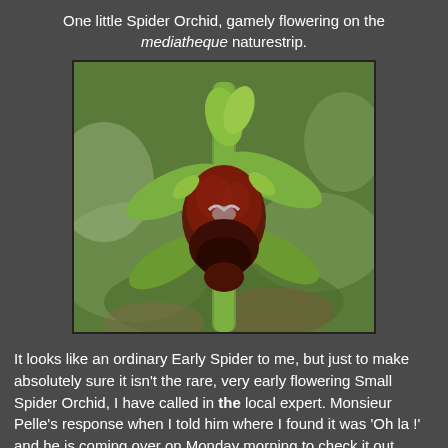One little Spider Orchid, gamely flowering on the mediatheque naturestrip.
[Figure (photo): Close-up photograph of a Spider Orchid flower with dark red-brown labellum resembling a spider, green sepals, on a green stem, with blurred green and brown background.]
It looks like an ordinary Early Spider to me, but just to make absolutely sure it isn't the rare, very early flowering Small Spider Orchid, I have called in the local expert. Monsieur Pelle's response when I told him where I found it was 'Oh la !' and he is coming over on Monday morning to check it out.
Susan